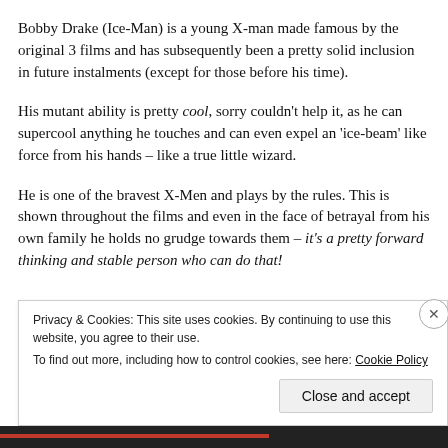Bobby Drake (Ice-Man) is a young X-man made famous by the original 3 films and has subsequently been a pretty solid inclusion in future instalments (except for those before his time).
His mutant ability is pretty cool, sorry couldn't help it, as he can supercool anything he touches and can even expel an 'ice-beam' like force from his hands – like a true little wizard.
He is one of the bravest X-Men and plays by the rules. This is shown throughout the films and even in the face of betrayal from his own family he holds no grudge towards them – it's a pretty forward thinking and stable person who can do that!
Privacy & Cookies: This site uses cookies. By continuing to use this website, you agree to their use.
To find out more, including how to control cookies, see here: Cookie Policy